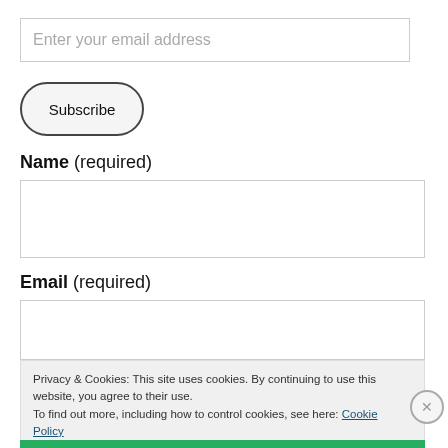Enter your email address
Subscribe
Name (required)
Email (required)
Privacy & Cookies: This site uses cookies. By continuing to use this website, you agree to their use.
To find out more, including how to control cookies, see here: Cookie Policy
Close and accept